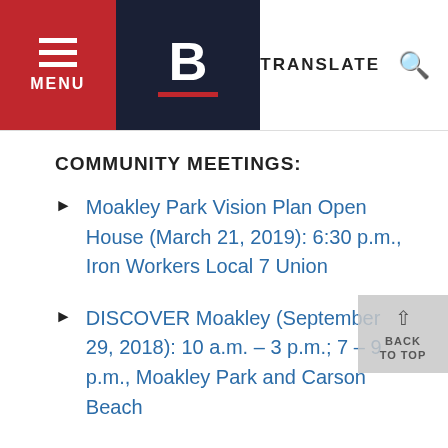MENU | B | TRANSLATE
COMMUNITY MEETINGS:
Moakley Park Vision Plan Open House (March 21, 2019): 6:30 p.m., Iron Workers Local 7 Union
DISCOVER Moakley (September 29, 2018): 10 a.m. – 3 p.m.; 7 – 9 p.m., Moakley Park and Carson Beach
Moakley Park Vision Plan Community